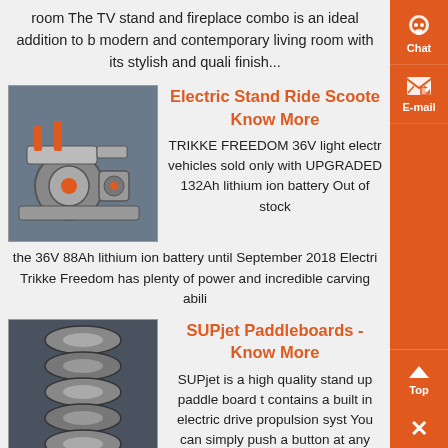room The TV stand and fireplace combo is an ideal addition to b modern and contemporary living room with its stylish and quali finish...
[Figure (photo): Industrial machinery with orange and grey mechanical parts]
Electric Stand Ride Scooter - Know More
TRIKKE FREEDOM 36V light electr vehicles sold only with UPGRADED 132Ah lithium ion battery Out of stock the 36V 88Ah lithium ion battery until September 2018 Electri Trikke Freedom has plenty of power and incredible carving abili
[Figure (photo): Stack of circular metal pulleys or wheel components]
SUPjet Paddleboards - Know More
SUPjet is a high quality stand up paddle board t contains a built in electric drive propulsion syst You can simply push a button at any time and a the built in drive system to propel you along a about 5 mph for over 15 hours...